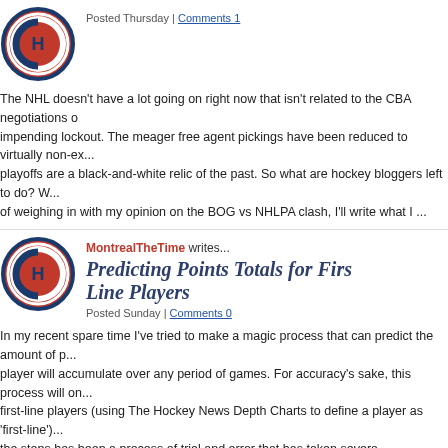[Figure (logo): Montreal Canadiens NHL team logo - red circle with C and H letters]
Posted Thursday | Comments 1
The NHL doesn't have a lot going on right now that isn't related to the CBA negotiations or the impending lockout. The meager free agent pickings have been reduced to virtually non-ex... playoffs are a black-and-white relic of the past. So what are hockey bloggers left to do? W... of weighing in with my opinion on the BOG vs NHLPA clash, I'll write what I ...
[Figure (logo): Montreal Canadiens NHL team logo - red circle with C and H letters]
MontrealTheTime writes...
Predicting Points Totals for First-Line Players
Posted Sunday | Comments 0
In my recent spare time I've tried to make a magic process that can predict the amount of p... player will accumulate over any period of games. For accuracy's sake, this process will on... first-line players (using The Hockey News Depth Charts to define a player as 'first-line')... the steps has been a process of trial and error that has taken severa...
[Figure (logo): Edmonton Oilers NHL team logo - orange circle with oil drop and OILERS text]
DJOilman writes...
How things have changed....
Posted Tuesday | Comments 0
I was at one time a frequent Hockeybuzz poster. Now, I'm more a frequent reader - I lurk... am intrigued with the opportunity to perhaps make a comeback of sorts, with the sudden c... Cloutier, as a writer and relayer of useless information (that's what Clouts did right?). Wh... Oilers lost to the playoffs and went to the 7th game of the Stan...